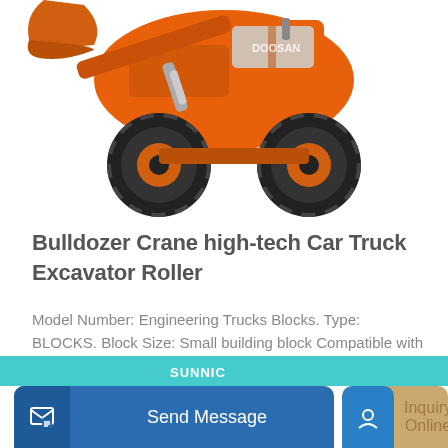[Figure (photo): Orange Doosan wheel loader / front loader construction machine photographed against white background, shown at a slight angle with bucket raised]
Bulldozer Crane high-tech Car Truck Excavator Roller
Model Number: Engineering Trucks Blocks. Type: BLOCKS. Block Size: Small building block Compatible with Lego . Certification: 3C. Attributes 1: toys for children
Learn More
Send Message
Inquiry Online